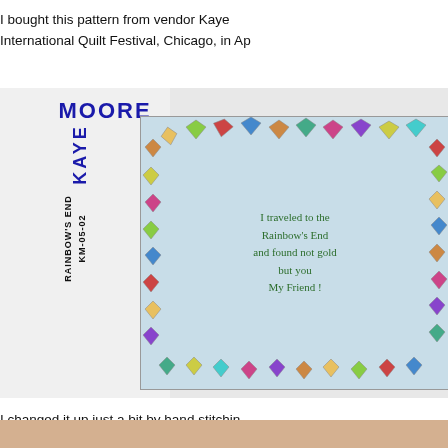I bought this pattern from vendor Kaye International Quilt Festival, Chicago, in Ap
[Figure (photo): Product label/packaging for a quilt pattern by Kaye Moore, showing 'MOORE' in blue bold text at top, 'KAYE' rotated vertically, 'RAINBOW'S END KM-05-02' rotated vertically on the left side label. On the right is a photo of a completed quilt featuring colorful patchwork hearts arranged in a circle on a light blue background with handwritten-style text reading: 'I traveled to the Rainbow's End and found not gold but you My Friend!']
I changed it up just a bit by hand stitchin background fabric and free motion stitchin